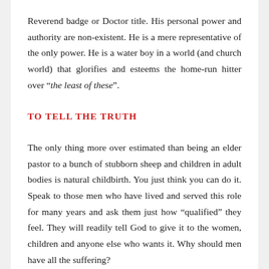Reverend badge or Doctor title. His personal power and authority are non-existent. He is a mere representative of the only power. He is a water boy in a world (and church world) that glorifies and esteems the home-run hitter over “the least of these”.
TO TELL THE TRUTH
The only thing more over estimated than being an elder pastor to a bunch of stubborn sheep and children in adult bodies is natural childbirth. You just think you can do it. Speak to those men who have lived and served this role for many years and ask them just how “qualified” they feel. They will readily tell God to give it to the women, children and anyone else who wants it. Why should men have all the suffering?